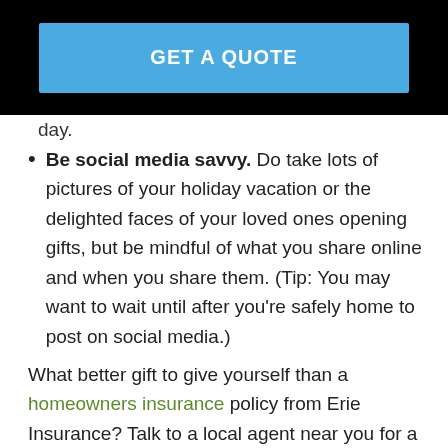[Figure (other): Blue 'GET A QUOTE' button on black background]
day.
Be social media savvy. Do take lots of pictures of your holiday vacation or the delighted faces of your loved ones opening gifts, but be mindful of what you share online and when you share them. (Tip: You may want to wait until after you're safely home to post on social media.)
What better gift to give yourself than a homeowners insurance policy from Erie Insurance? Talk to a local agent near you for a free quote, or schedule a policy review to make sure your coverage is up to date.